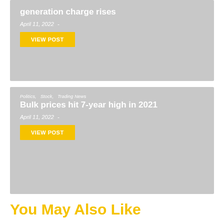generation charge rises
April 11, 2022  -
VIEW POST
Politics,   Stock,   Trading News
Bulk prices hit 7-year high in 2021
April 11, 2022  -
VIEW POST
You May Also Like